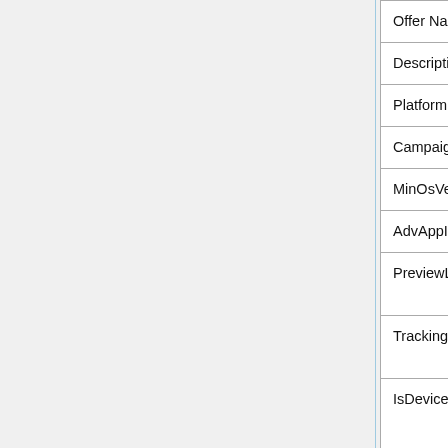| Field | Description | Example |
| --- | --- | --- |
| Offer Name | Taptica internal offer name. | U... |
| Description | Offer description. | Pla... |
| Platform | Supported platform. | iPh... |
| CampaignId | Taptica internal campaign ID. | 3 |
| MinOsVersion | Minimum OS version. | 4.3... |
| AdvAppId | Google / Appstore application id. | 55... |
| PreviewLink | Link to the application on Google / Appstore. | htt... |
| TrackingLink | Taptica basic tracking link *(please see explanation below) | htt... |
| IsDeviceIdMandatory | when set to true, it means that the application must get at least one of the device parameters | fals... |